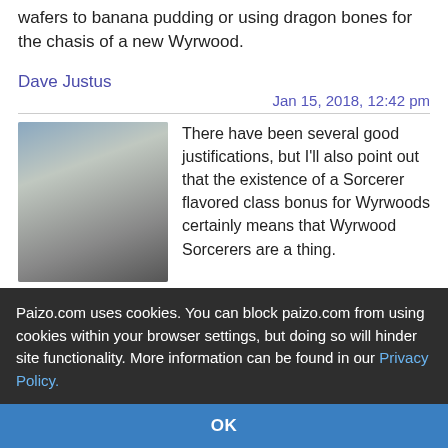wafers to banana pudding or using dragon bones for the chasis of a new Wyrwood.
Dave Justus
Jan 15, 2018, 12:42 pm
[Figure (photo): Avatar of user Dave Justus showing an elf character with white hair]
There have been several good justifications, but I'll also point out that the existence of a Sorcerer flavored class bonus for Wyrwoods certainly means that Wyrwood Sorcerers are a thing.
Dragonborn3
Jan 15, 2018, 12:45 pm
[Figure (photo): Avatar of user Dragonborn3 showing a dragon character with red/brown scales]
Now if only it wasn't a third party
Paizo.com uses cookies. You can block paizo.com from using cookies within your browser settings, but doing so will hinder site functionality. More information can be found in our Privacy Policy.
OK